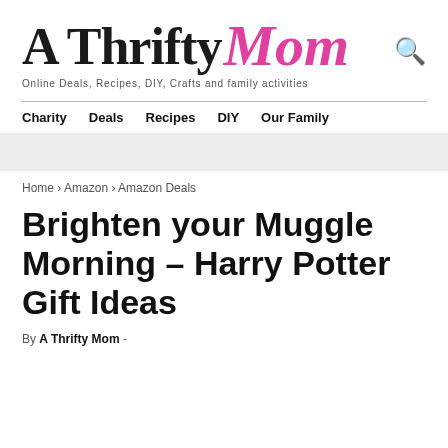A Thrifty Mom — Online Deals, Recipes, DIY, Crafts and family activities
Charity  Deals  Recipes  DIY  Our Family
Home › Amazon › Amazon Deals
Brighten your Muggle Morning – Harry Potter Gift Ideas
By A Thrifty Mom -